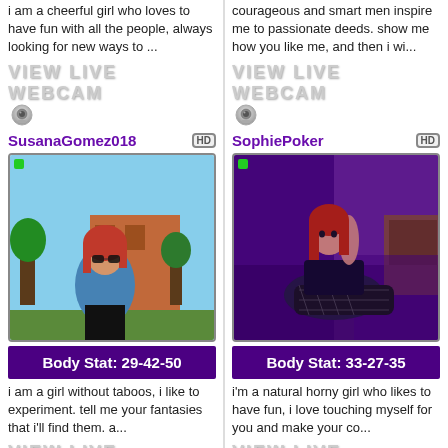i am a cheerful girl who loves to have fun with all the people, always looking for new ways to ...
[Figure (illustration): VIEW LIVE WEBCAM button with webcam icon]
SusanaGomez018
[Figure (photo): Profile photo of SusanaGomez018 - woman with red hair outdoors]
Body Stat: 29-42-50
i am a girl without taboos, i like to experiment. tell me your fantasies that i'll find them. a...
[Figure (illustration): VIEW LIVE WEBCAM button with webcam icon]
Sexy_Red_Foxx
courageous and smart men inspire me to passionate deeds. show me how you like me, and then i wi...
[Figure (illustration): VIEW LIVE WEBCAM button with webcam icon]
SophiePoker
[Figure (photo): Profile photo of SophiePoker - woman with red hair in purple-lit room]
Body Stat: 33-27-35
i'm a natural horny girl who likes to have fun, i love touching myself for you and make your co...
[Figure (illustration): VIEW LIVE WEBCAM button with webcam icon]
MIISSAGATHAA